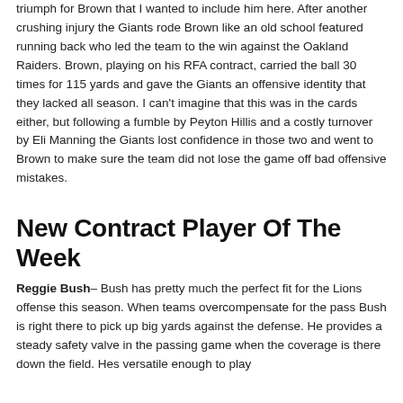triumph for Brown that I wanted to include him here. After another crushing injury the Giants rode Brown like an old school featured running back who led the team to the win against the Oakland Raiders. Brown, playing on his RFA contract, carried the ball 30 times for 115 yards and gave the Giants an offensive identity that they lacked all season. I can't imagine that this was in the cards either, but following a fumble by Peyton Hillis and a costly turnover by Eli Manning the Giants lost confidence in those two and went to Brown to make sure the team did not lose the game off bad offensive mistakes.
New Contract Player Of The Week
Reggie Bush– Bush has pretty much the perfect fit for the Lions offense this season. When teams overcompensate for the pass Bush is right there to pick up big yards against the defense. He provides a steady safety valve in the passing game when the coverage is there down the field. Hes versatile enough to play